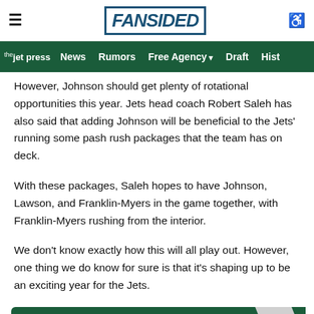FanSided — Navigation: the jet press | News | Rumors | Free Agency | Draft | Hist
However, Johnson should get plenty of rotational opportunities this year. Jets head coach Robert Saleh has also said that adding Johnson will be beneficial to the Jets' running some pash rush packages that the team has on deck.
With these packages, Saleh hopes to have Johnson, Lawson, and Franklin-Myers in the game together, with Franklin-Myers rushing from the interior.
We don't know exactly how this will all play out. However, one thing we do know for sure is that it's shaping up to be an exciting year for the Jets.
[Figure (other): Green call-to-action button with text: NEXT: 6 biggest standouts from the NY Jets mandatory minicamp, with a chevron arrow on the right]
With a lot of NFL analysts predicting the Jets to take a significant leap forward, will we see that start to become a reality this year?